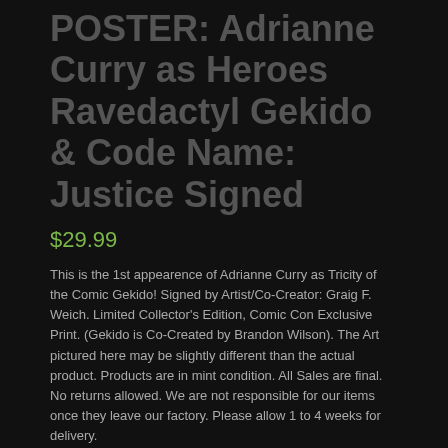POSTER: Adrianne Curry as Heroes Ravedactyl Gekido & Code Name: Justice Signed
$29.99
This is the 1st appearence of Adrianne Curry as Tricity of the Comic Gekido! Signed by Artist/Co-Creator: Graig F. Weich. Limited Collector's Edition, Comic Con Exclusive Print. (Gekido is Co-Created by Brandon Wilson). The Art pictured here may be slightly different than the actual product. Products are in mint condition. All Sales are final. No returns allowed. We are not responsible for our items once they leave our factory. Please allow 1 to 4 weeks for delivery.
Category: Posters
Description